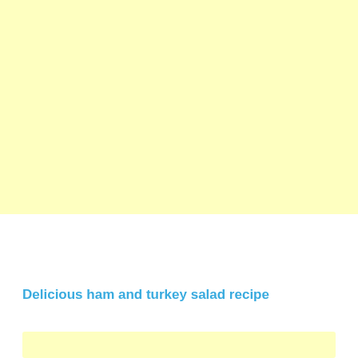[Figure (illustration): Large light yellow rectangular block occupying the top portion of the page]
Delicious ham and turkey salad recipe
[Figure (illustration): Small light yellow rectangular block at the bottom of the page]